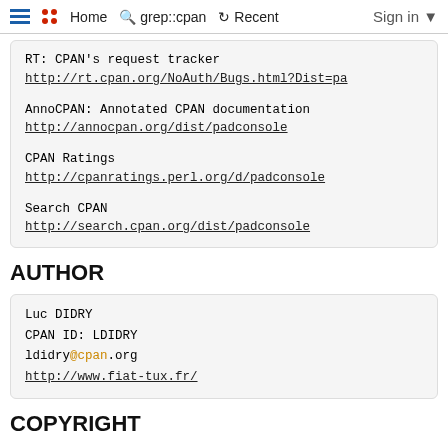≡  •• Home  🔍 grep::cpan  ↺ Recent  Sign in ▾
RT: CPAN's request tracker
http://rt.cpan.org/NoAuth/Bugs.html?Dist=pa

AnnoCPAN: Annotated CPAN documentation
http://annocpan.org/dist/padconsole

CPAN Ratings
http://cpanratings.perl.org/d/padconsole

Search CPAN
http://search.cpan.org/dist/padconsole
AUTHOR
Luc DIDRY
CPAN ID: LDIDRY
ldidry@cpan.org
http://www.fiat-tux.fr/
COPYRIGHT